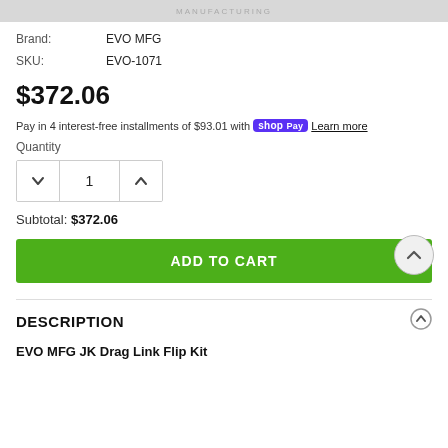MANUFACTURING
Brand: EVO MFG
SKU: EVO-1071
$372.06
Pay in 4 interest-free installments of $93.01 with shop Pay Learn more
Quantity
1
Subtotal: $372.06
ADD TO CART
DESCRIPTION
EVO MFG JK Drag Link Flip Kit